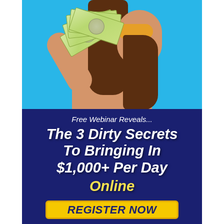[Figure (photo): Woman with yellow sunglasses holding a fan of $100 bills, blue background, open mouth expression, long brown hair]
Free Webinar Reveals...
The 3 Dirty Secrets To Bringing In $1,000+ Per Day Online
REGISTER NOW